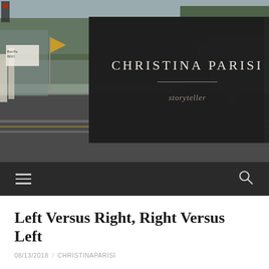[Figure (photo): Street scene with protesters holding signs including 'Ron Paul Revolution' and other political banners, with a dark semi-transparent overlay box containing the site name and tagline]
CHRISTINA PARISI
storyteller
Navigation bar with hamburger menu and search icon
Left Versus Right, Right Versus Left
08/13/2018 / CHRISTINAPARISI